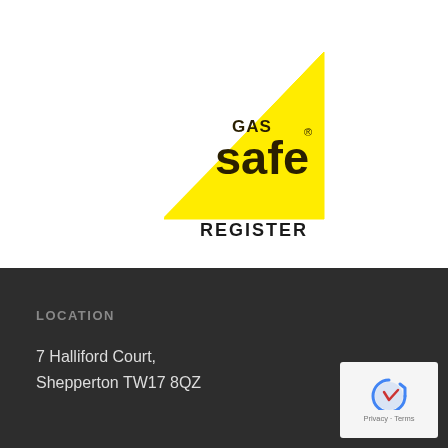[Figure (logo): Gas Safe Register logo: yellow right-triangle shape with 'GAS safe REGISTER' text in dark brown/black. The word 'safe' is large, 'GAS' smaller above it, and 'REGISTER' below the triangle in bold uppercase.]
LOCATION
7 Halliford Court,
Shepperton TW17 8QZ